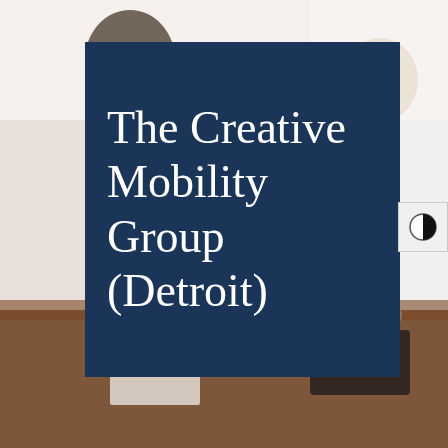[Figure (photo): Background photo of two people sitting at a table in a meeting or office setting, blurred. One person in a white shirt is seen from behind, another person in a white coat (possibly a doctor) is visible across the table. A dark wooden table and paperwork are visible.]
The Creative Mobility Group (Detroit)
[Figure (other): Half-black half-white circle icon resembling a contrast/accessibility toggle button, on a light grey background panel on the right edge of the image.]